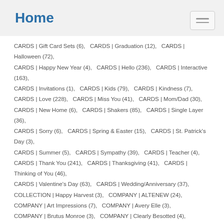Home
CARDS | Gift Card Sets (6),   CARDS | Graduation (12),   CARDS | Halloween (72),   CARDS | Happy New Year (4),   CARDS | Hello (236),   CARDS | Interactive (163),   CARDS | Invitations (1),   CARDS | Kids (79),   CARDS | Kindness (7),   CARDS | Love (228),   CARDS | Miss You (41),   CARDS | Mom/Dad (30),   CARDS | New Home (6),   CARDS | Shakers (85),   CARDS | Single Layer (36),   CARDS | Sorry (6),   CARDS | Spring & Easter (15),   CARDS | St. Patrick's Day (3),   CARDS | Summer (5),   CARDS | Sympathy (39),   CARDS | Teacher (4),   CARDS | Thank You (241),   CARDS | Thanksgiving (41),   CARDS | Thinking of You (46),   CARDS | Valentine's Day (63),   CARDS | Wedding/Anniversary (37),   COLLECTION | Happy Harvest (3),   COMPANY | ALTENEW (24),   COMPANY | Art Impressions (7),   COMPANY | Avery Elle (3),   COMPANY | Brutus Monroe (3),   COMPANY | Clearly Besotted (4),   COMPANY | Colorado Craft Company (22),   COMPANY | Concord & 9th (10),   COMPANY | CZ Design (4),   COMPANY | Essentials By Ellen (Ellen Hutson) (34),   COMPANY | GINA K DESIGNS (7),   COMPANY | Heffy Doodle (6),   COMPANY | Hero Arts (206),   COMPANY | Honey Bee Stamps (94),